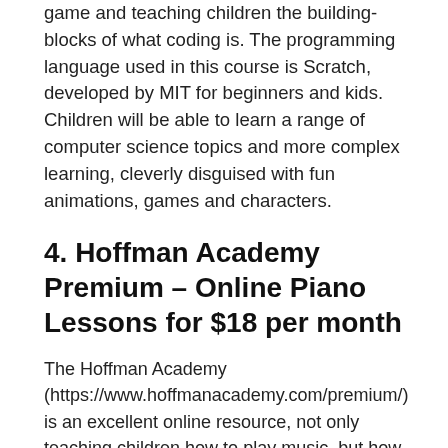game and teaching children the building-blocks of what coding is. The programming language used in this course is Scratch, developed by MIT for beginners and kids. Children will be able to learn a range of computer science topics and more complex learning, cleverly disguised with fun animations, games and characters.
4. Hoffman Academy Premium – Online Piano Lessons for $18 per month
The Hoffman Academy (https://www.hoffmanacademy.com/premium/) is an excellent online resource, not only teaching children how to play music, but how to understand it too. It's an ideal online course for budding songwriters or music enthusiasts.